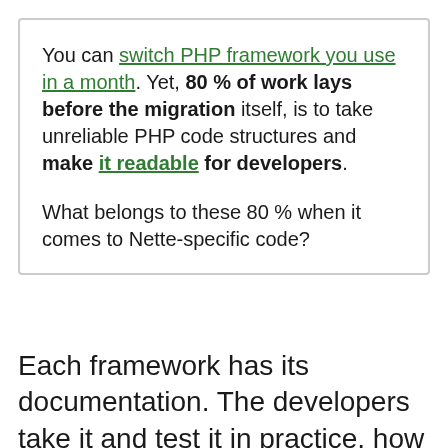You can switch PHP framework you use in a month. Yet, 80 % of work lays before the migration itself, is to take unreliable PHP code structures and make it readable for developers. What belongs to these 80 % when it comes to Nette-specific code?
Each framework has its documentation. The developers take it and test it in practice, how good the examples stand...